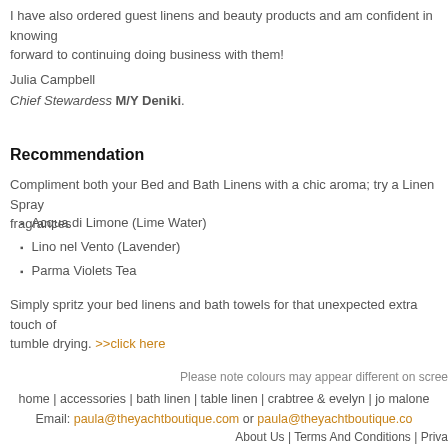I have also ordered guest linens and beauty products and am confident in knowing forward to continuing doing business with them!
Julia Campbell
Chief Stewardess M/Y Deniki.
Recommendation
Compliment both your Bed and Bath Linens with a chic aroma; try a Linen Spray fragrances
Acqua di Limone (Lime Water)
Lino nel Vento (Lavender)
Parma Violets Tea
Simply spritz your bed linens and bath towels for that unexpected extra touch of tumble drying. >>click here
Please note colours may appear different on scre...
home | accessories | bath linen | table linen | crabtree & evelyn | jo malone
Email: paula@theyachtboutique.com or paula@theyachtboutique.co...
About Us | Terms And Conditions | Priva...